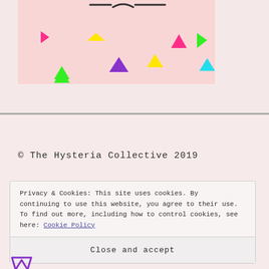[Figure (illustration): Pink background illustration with scattered colorful triangles in magenta, yellow, purple, green, pink, cyan colors. A hand-drawn dash line with a smiley-like curve is visible at the top.]
© The Hysteria Collective 2019
Privacy & Cookies: This site uses cookies. By continuing to use this website, you agree to their use. To find out more, including how to control cookies, see here: Cookie Policy
Close and accept